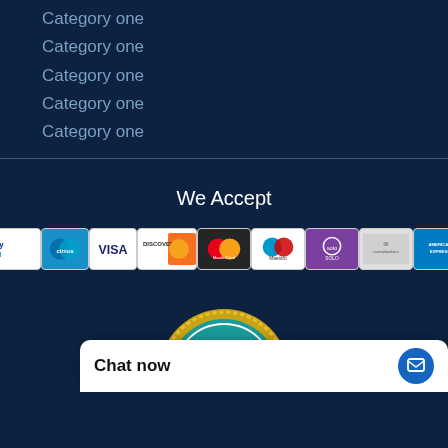Category one
Category one
Category one
Category one
Category one
We Accept
[Figure (infographic): Row of payment method logos: PayPal, Cirrus, VISA, DISCOVER, MasterCard, Maestro, Solo, moneybookers, and another card logo]
[Figure (illustration): No Plagiarism badge — circular gold-rimmed teal badge with white text reading NO PLAGIARISM]
Chat now